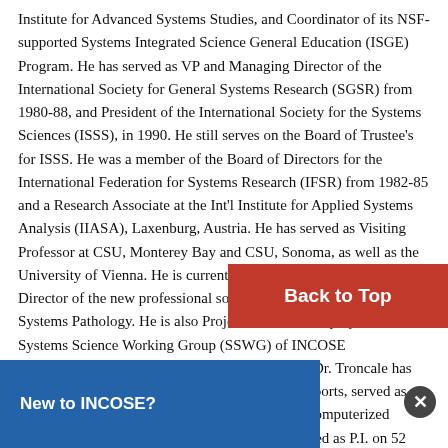Institute for Advanced Systems Studies, and Coordinator of its NSF-supported Systems Integrated Science General Education (ISGE) Program. He has served as VP and Managing Director of the International Society for General Systems Research (SGSR) from 1980-88, and President of the International Society for the Systems Sciences (ISSS), in 1990. He still serves on the Board of Trustee’s for ISSS. He was a member of the Board of Directors for the International Federation for Systems Research (IFSR) from 1982-85 and a Research Associate at the Int’l Institute for Applied Systems Analysis (IIASA), Laxenburg, Austria. He has served as Visiting Professor at CSU, Monterey Bay and CSU, Sonoma, as well as the University of Vienna. He is currently serving as VP/Managing Director of the new professional society, ISSP, Int’l Society for Systems Pathology. He is also Project Lead for two projects of the Systems Science Working Group (SSWG) of INCOSE (International Council on Systems Engineering). Dr. Troncale has published 120 articles, abstracts, editorials and reports, served as Editor on 11 projects, delivered 125 invited and computerized presentations and demo’s in 23 countries and served as P.I. on 52 grants and co… in a variety of federal, state, and private organizatio… OE, QNR, HUD, HHMI and Keck Foundations, the W… SU Syste… Systems Processes Theory, and Systems… Path… s new spin-off specialties such as Systems… Allo… y, and SysInformatics). In Systems Biology his…